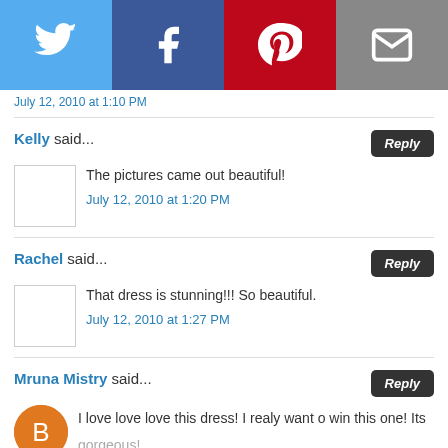[Figure (infographic): Social sharing toolbar with Twitter, Facebook, Pinterest, and Email buttons]
July 12, 2010 at 1:10 PM
Kelly said... Reply
The pictures came out beautiful!
July 12, 2010 at 1:20 PM
Rachel said... Reply
That dress is stunning!!! So beautiful.
July 12, 2010 at 1:27 PM
Mruna Mistry said... Reply
I love love love this dress! I realy want o win this one! Its gorgeous!
mrunamisty at gmail dot com